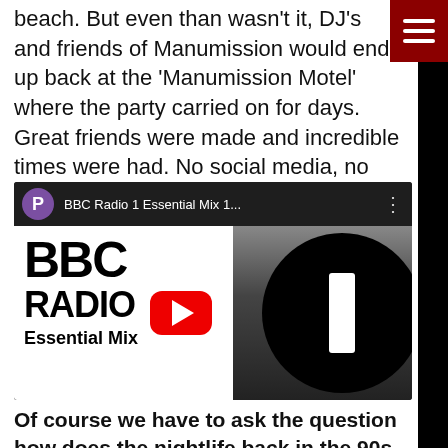beach. But even than wasn't it, DJ's and friends of Manumission would end up back at the 'Manumission Motel' where the party carried on for days. Great friends were made and incredible times were had. No social media, no selfies just party people and great music.
[Figure (screenshot): YouTube video thumbnail for BBC Radio 1 Essential Mix 1... showing the BBC Radio 1 Essential Mix logo with a YouTube play button overlay. Top bar shows a purple avatar with letter P and the video title.]
Of course we have to ask the question how does the nightlife back in the 90s compare to the